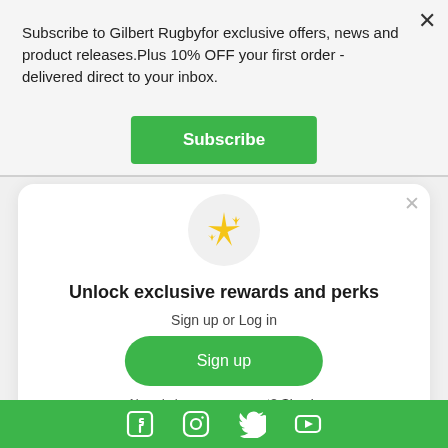Subscribe to Gilbert Rugbyfor exclusive offers, news and product releases.Plus 10% OFF your first order - delivered direct to your inbox.
Subscribe
[Figure (illustration): Sparkle/star emoji icon inside a light grey circle]
Unlock exclusive rewards and perks
Sign up or Log in
Sign up
Already have an account? Sign in